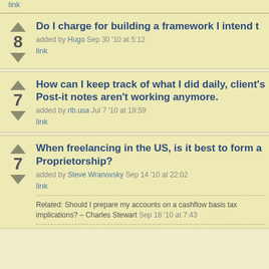link
Do I charge for building a framework I intend t
added by Hugo Sep 30 '10 at 5:12
link
How can I keep track of what I did daily, client's Post-it notes aren't working anymore.
added by rlb.usa Jul 7 '10 at 18:59
link
When freelancing in the US, is it best to form a Proprietorship?
added by Steve Wranovsky Sep 14 '10 at 22:02
link
Related: Should I prepare my accounts on a cashflow basis tax implications? – Charles Stewart Sep 18 '10 at 7:43